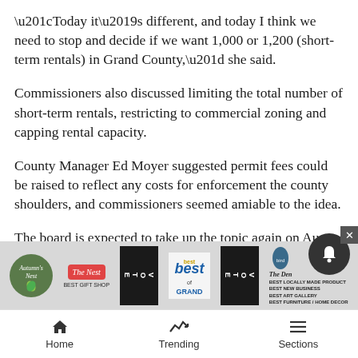“Today it’s different, and today I think we need to stop and decide if we want 1,000 or 1,200 (short-term rentals) in Grand County,” she said.
Commissioners also discussed limiting the total number of short-term rentals, restricting to commercial zoning and capping rental capacity.
County Manager Ed Moyer suggested permit fees could be raised to reflect any costs for enforcement the county shoulders, and commissioners seemed amiable to the idea.
The board is expected to take up the topic again on Aug. 3, during which there could include more discus
[Figure (advertisement): Ad banner with Autumn's Nest, The Nest Best Gift Shop, Vote Best of Grand, The Den best product logos]
Home  Trending  Sections